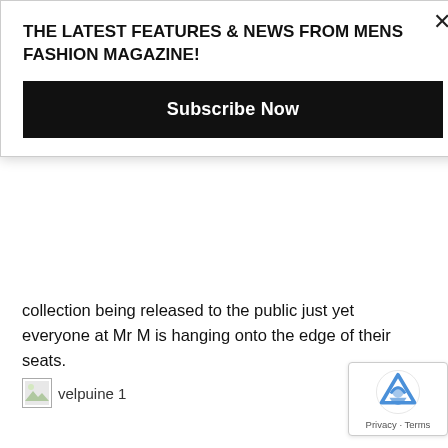THE LATEST FEATURES & NEWS FROM MENS FASHION MAGAZINE!
Subscribe Now
collection being released to the public just yet everyone at Mr M is hanging onto the edge of their seats.
[Figure (other): Broken image placeholder labeled 'velpuine 1']
The collection is due to launch spring / summer 2015 and details of the first release will be later this year. Having a hugely successful career Sir Chris Hoy holds eleven world titles, not only that but he has mastered from track to BMX ,mountain biking and everything in between which is the ultimate cyclist dream. Furthermore, as of 2013 he had a very successful launch of his bikes epitomises innovative designs.
[Figure (other): reCAPTCHA badge with logo and Privacy · Terms text]